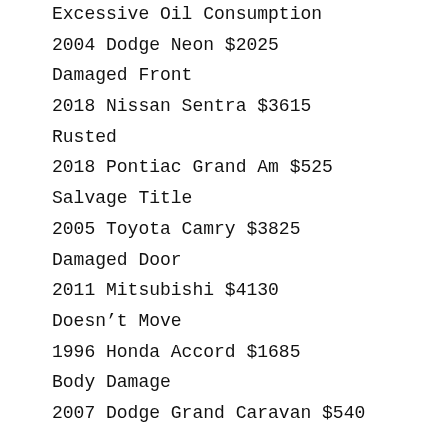Excessive Oil Consumption
2004 Dodge Neon $2025
Damaged Front
2018 Nissan Sentra $3615
Rusted
2018 Pontiac Grand Am $525
Salvage Title
2005 Toyota Camry $3825
Damaged Door
2011 Mitsubishi $4130
Doesn’t Move
1996 Honda Accord $1685
Body Damage
2007 Dodge Grand Caravan $540